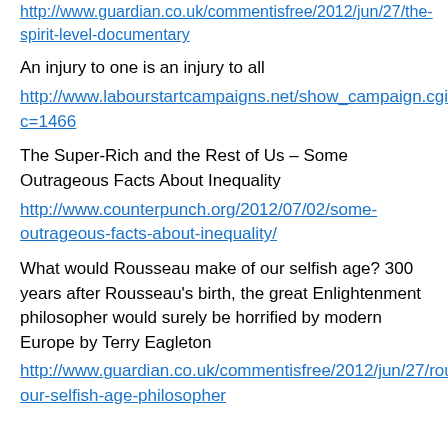http://www.guardian.co.uk/commentisfree/2012/jun/27/the-spirit-level-documentary
An injury to one is an injury to all
http://www.labourstartcampaigns.net/show_campaign.cgi?c=1466
The Super-Rich and the Rest of Us – Some Outrageous Facts About Inequality
http://www.counterpunch.org/2012/07/02/some-outrageous-facts-about-inequality/
What would Rousseau make of our selfish age? 300 years after Rousseau's birth, the great Enlightenment philosopher would surely be horrified by modern Europe by Terry Eagleton
http://www.guardian.co.uk/commentisfree/2012/jun/27/rousseau-our-selfish-age-philosopher